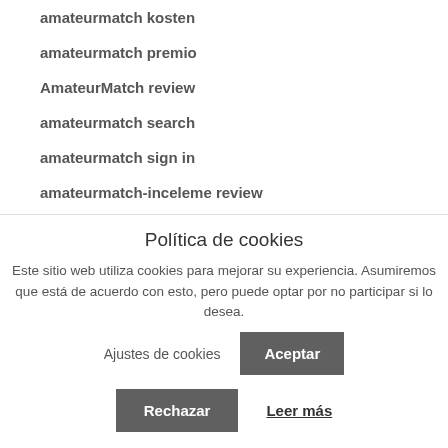amateurmatch kosten
amateurmatch premio
AmateurMatch review
amateurmatch search
amateurmatch sign in
amateurmatch-inceleme review
america-chat-rooms reviews
American Dating hookup
American Dating Sites app reddit
Política de cookies
Este sitio web utiliza cookies para mejorar su experiencia. Asumiremos que está de acuerdo con esto, pero puede optar por no participar si lo desea.
Ajustes de cookies
Aceptar
Rechazar
Leer más